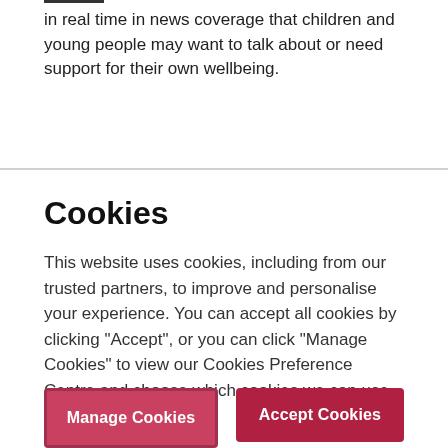in real time in news coverage that children and young people may want to talk about or need support for their own wellbeing.
Cookies
This website uses cookies, including from our trusted partners, to improve and personalise your experience. You can accept all cookies by clicking "Accept", or you can click "Manage Cookies" to view our Cookies Preference Centre and choose which cookies we can use.
Manage Cookies
Accept Cookies